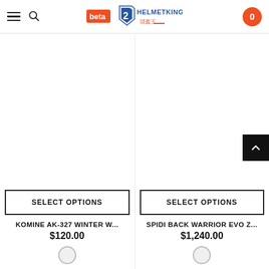[Figure (logo): HelmetKing beta logo with Chinese text 頭盔王]
SELECT OPTIONS
KOMINE AK-327 WINTER W...
$120.00
SELECT OPTIONS
SPIDI BACK WARRIOR EVO Z...
$1,240.00